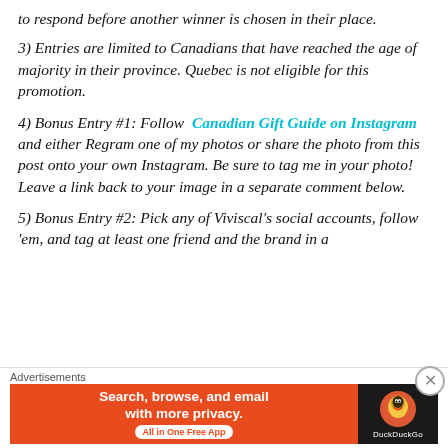to respond before another winner is chosen in their place.
3) Entries are limited to Canadians that have reached the age of majority in their province. Quebec is not eligible for this promotion.
4) Bonus Entry #1: Follow Canadian Gift Guide on Instagram and either Regram one of my photos or share the photo from this post onto your own Instagram. Be sure to tag me in your photo! Leave a link back to your image in a separate comment below.
5) Bonus Entry #2: Pick any of Viviscal’s social accounts, follow ’em, and tag at least one friend and the brand in a
Advertisements
[Figure (screenshot): DuckDuckGo advertisement banner: orange left panel with text 'Search, browse, and email with more privacy. All in One Free App' and dark right panel with DuckDuckGo logo.]